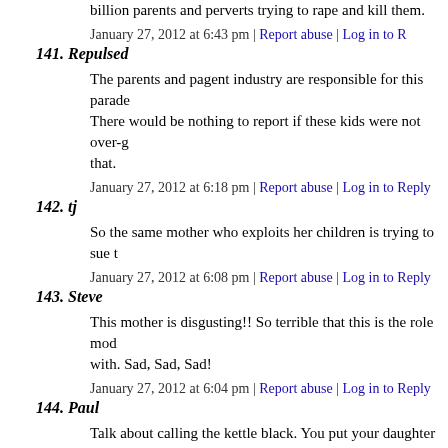billion parents and perverts trying to rape and kill them.
January 27, 2012 at 6:43 pm | Report abuse | Log in to R...
141. Repulsed
The parents and pagent industry are responsible for this parade... There would be nothing to report if these kids were not over-g... that.
January 27, 2012 at 6:18 pm | Report abuse | Log in to Reply
142. tj
So the same mother who exploits her children is trying to sue t...
January 27, 2012 at 6:08 pm | Report abuse | Log in to Reply
143. Steve
This mother is disgusting!! So terrible that this is the role mod... with. Sad, Sad, Sad!
January 27, 2012 at 6:04 pm | Report abuse | Log in to Reply
144. Paul
Talk about calling the kettle black. You put your daughter in th... Madam.